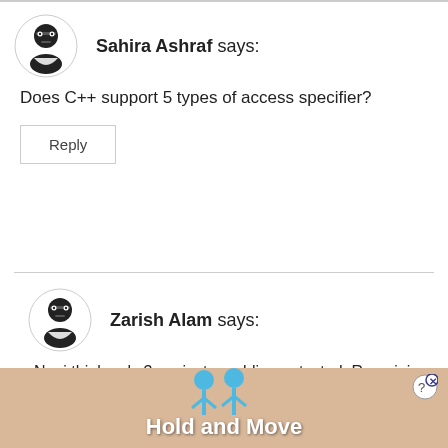Sahira Ashraf says:
Does C++ support 5 types of access specifier?
Reply
Zarish Alam says:
No, i think only 3…private, public, protected. Remaining two i guess are for